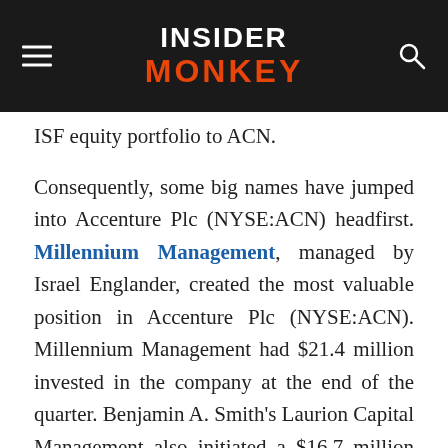INSIDER MONKEY
ISF equity portfolio to ACN.
Consequently, some big names have jumped into Accenture Plc (NYSE:ACN) headfirst. Millennium Management, managed by Israel Englander, created the most valuable position in Accenture Plc (NYSE:ACN). Millennium Management had $21.4 million invested in the company at the end of the quarter. Benjamin A. Smith's Laurion Capital Management also initiated a $16.7 million position during the quarter. The following funds were also among the new ACN investors: Doug Gordon, Jon Hilsabeck and Don Jabro's Shellback Capital, Steve Cohen's Point72 Asset Management, and Ken